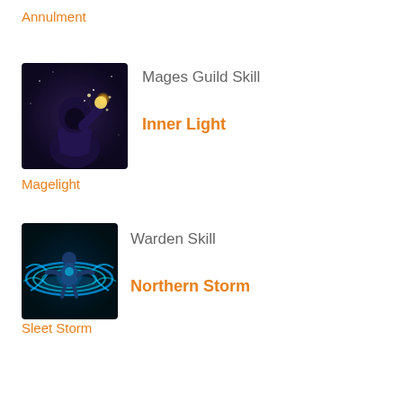Annulment
Mages Guild Skill
[Figure (illustration): Dark robed mage figure raising a glowing fist with stars/magic particles, dark blue/purple background]
Inner Light
Magelight
Warden Skill
[Figure (illustration): Warden character meditating in center of swirling blue-green energy vortex/storm]
Northern Storm
Sleet Storm